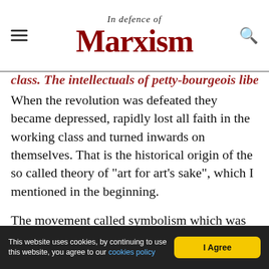In defence of Marxism
class. The intellectuals of petty-bourgeois liberals.
When the revolution was defeated they became depressed, rapidly lost all faith in the working class and turned inwards on themselves. That is the historical origin of the so called theory of "art for art's sake", which I mentioned in the beginning.
The movement called symbolism which was created basically by Baudelaire - a marvellous poet. But he was one of those who lost all faith in the revolution after 1848, and retreated into himself, writing mainly about things like sex and mysticism, which is always the case with the intelligentsia after
This website uses cookies, by continuing to use this website, you agree to our cookies policy  I Agree